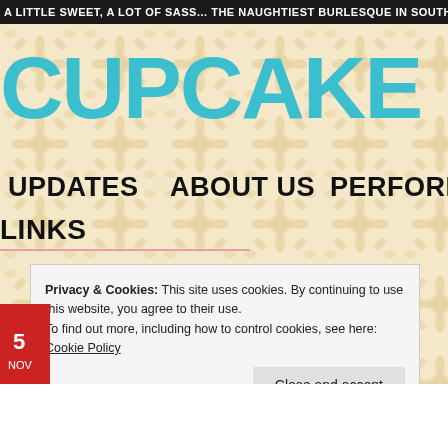A LITTLE SWEET, A LOT OF SASS... THE NAUGHTIEST BURLESQUE IN SOUTH FLORI...
CUPCAKE BU
UPDATES
ABOUT US
PERFORMERS
LINKS
Privacy & Cookies: This site uses cookies. By continuing to use this website, you agree to their use.
To find out more, including how to control cookies, see here: Cookie Policy
Close and accept
Dearly Departed Celebrities...